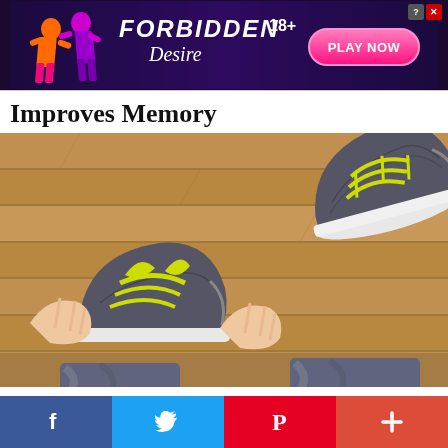[Figure (screenshot): Advertisement banner for 'Forbidden Desire 18+' game with dark purple background, silhouette figures, and pink 'Play Now' button]
Improves Memory
[Figure (photo): Overhead view of a person tying laces on grey and yellow-green sneakers on a wooden floor]
[Figure (screenshot): Social media share bar with Facebook, Twitter, Pinterest, and plus buttons]